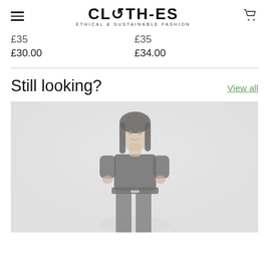CLOTH-ES ETHICAL & SUSTAINABLE FASHION
£35   £35
£30.00   £34.00
Still looking?
View all
[Figure (photo): A female model wearing a black t-shirt tucked into dark trousers with a silver belt, photographed against a light grey background. The image is slightly faded/low saturation.]